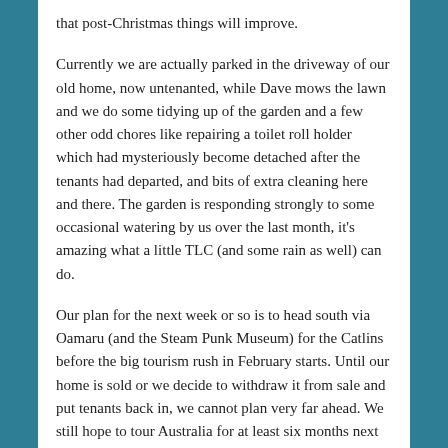that post-Christmas things will improve.
Currently we are actually parked in the driveway of our old home, now untenanted, while Dave mows the lawn and we do some tidying up of the garden and a few other odd chores like repairing a toilet roll holder which had mysteriously become detached after the tenants had departed, and bits of extra cleaning here and there. The garden is responding strongly to some occasional watering by us over the last month, it's amazing what a little TLC (and some rain as well) can do.
Our plan for the next week or so is to head south via Oamaru (and the Steam Punk Museum) for the Catlins before the big tourism rush in February starts. Until our home is sold or we decide to withdraw it from sale and put tenants back in, we cannot plan very far ahead. We still hope to tour Australia for at least six months next winter.
SHARE THIS: